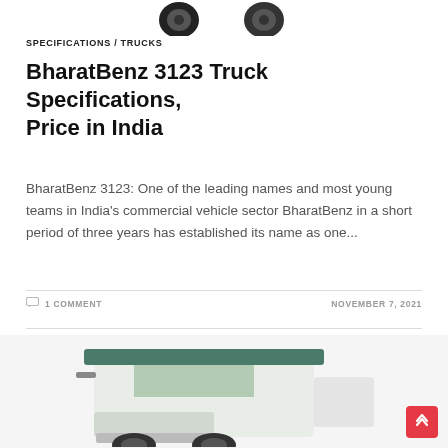[Figure (photo): Top portion of a truck image, cropped at bottom, showing two dark wheels/tires against white background]
SPECIFICATIONS / TRUCKS
BharatBenz 3123 Truck Specifications, Price in India
BharatBenz 3123: One of the leading names and most young teams in India's commercial vehicle sector BharatBenz in a short period of three years has established its name as one...
1 COMMENT
NOVEMBER 7, 2021
[Figure (photo): Bottom portion of a BharatBenz truck, showing the front cab area with white/green coloring, partially visible]